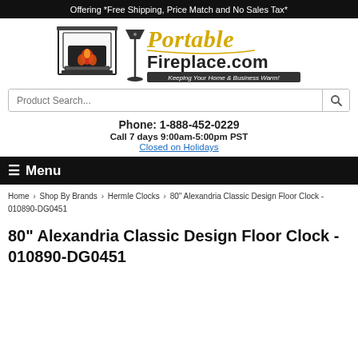Offering *Free Shipping, Price Match and No Sales Tax*
[Figure (logo): PortableFireplace.com logo with fireplace and floor lamp illustration, tagline: Keeping Your Home & Business Warm!]
Product Search...
Phone: 1-888-452-0229
Call 7 days 9:00am-5:00pm PST
Closed on Holidays
☰ Menu
Home > Shop By Brands > Hermle Clocks > 80" Alexandria Classic Design Floor Clock - 010890-DG0451
80" Alexandria Classic Design Floor Clock - 010890-DG0451